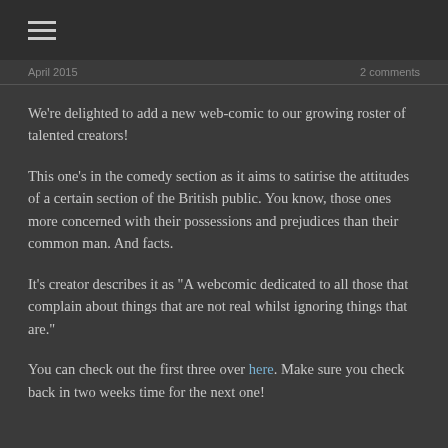☰
April 2015   2 comments
We're delighted to add a new web-comic to our growing roster of talented creators!
This one's in the comedy section as it aims to satirise the attitudes of a certain section of the British public. You know, those ones more concerned with their possessions and prejudices than their common man. And facts.
It's creator describes it as "A webcomic dedicated to all those that complain about things that are not real whilst ignoring things that are."
You can check out the first three over here. Make sure you check back in two weeks time for the next one!